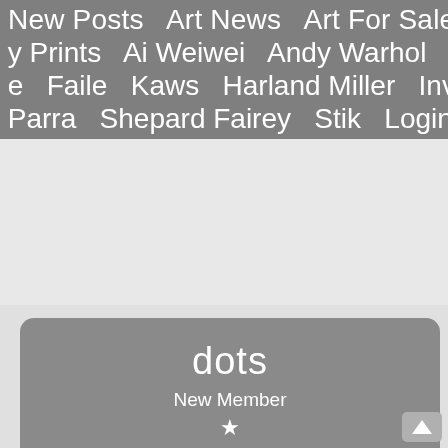New Posts   Art News   Art For Sale   Art A   y Prints   Ai Weiwei   Andy Warhol   Cleon   e   Faile   Kaws   Harland Miller   Invader   Parra   Shepard Fairey   Stik   Login   Reg
[Figure (photo): Dark abstract artwork with black, dark red/orange tones, appears to be a painting detail with bold brushstrokes]
dots
New Member
Posts • 1
Likes • 0
June 2017